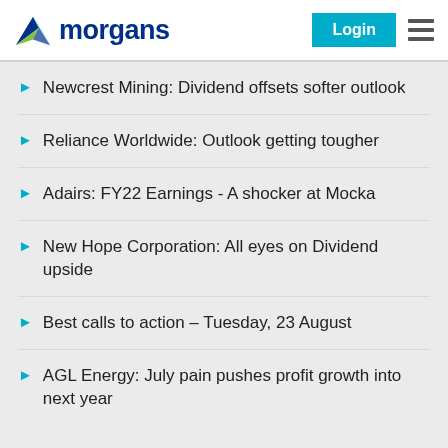morgans
Newcrest Mining: Dividend offsets softer outlook
Reliance Worldwide: Outlook getting tougher
Adairs: FY22 Earnings - A shocker at Mocka
New Hope Corporation: All eyes on Dividend upside
Best calls to action – Tuesday, 23 August
AGL Energy: July pain pushes profit growth into next year